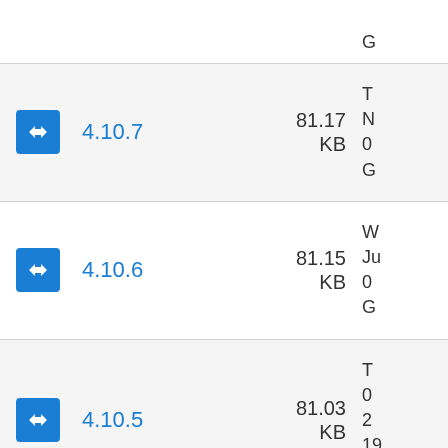4.10.7 — 81.17 KB
4.10.6 — 81.15 KB
4.10.5 — 81.03 KB